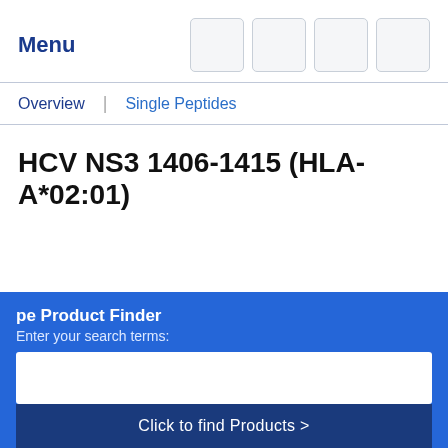Menu
Overview | Single Peptides
HCV NS3 1406-1415 (HLA-A*02:01)
pe Product Finder
Enter your search terms:
Click to find Products >